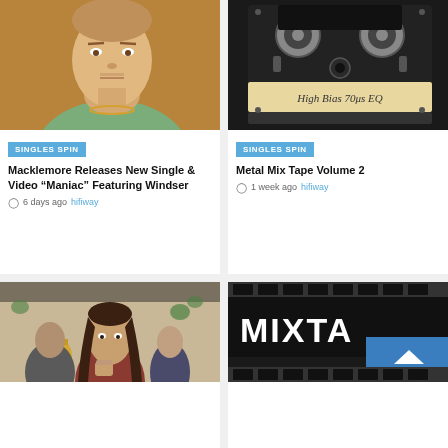[Figure (photo): Close-up photo of Macklemore, a man in a green shirt with a gold chain necklace against a brown/orange background]
SINGLES SPIN
Macklemore Releases New Single & Video “Maniac” Featuring Windser
6 days ago  hifiway
[Figure (photo): Close-up photo of a black cassette tape with label reading High Bias 70μs EQ]
SINGLES SPIN
Metal Mix Tape Volume 2
1 week ago  hifiway
[Figure (photo): Band photo showing a man with long brown hair in a red striped shirt, making a fist, with others behind him]
[Figure (photo): Mixtape album cover with text MIXTA visible on black background with film strip pattern]